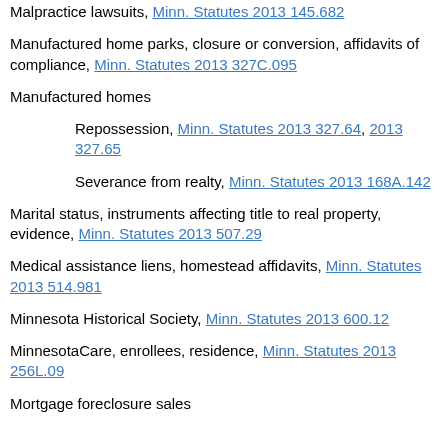Malpractice lawsuits, Minn. Statutes 2013 145.682
Manufactured home parks, closure or conversion, affidavits of compliance, Minn. Statutes 2013 327C.095
Manufactured homes
Repossession, Minn. Statutes 2013 327.64, 2013 327.65
Severance from realty, Minn. Statutes 2013 168A.142
Marital status, instruments affecting title to real property, evidence, Minn. Statutes 2013 507.29
Medical assistance liens, homestead affidavits, Minn. Statutes 2013 514.981
Minnesota Historical Society, Minn. Statutes 2013 600.12
MinnesotaCare, enrollees, residence, Minn. Statutes 2013 256L.09
Mortgage foreclosure sales